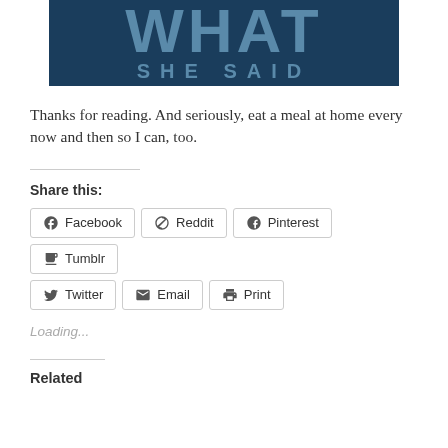[Figure (logo): Blog logo showing 'WHAT SHE SAID' text on a dark blue background]
Thanks for reading. And seriously, eat a meal at home every now and then so I can, too.
Share this:
Facebook  Reddit  Pinterest  Tumblr  Twitter  Email  Print
Loading...
Related